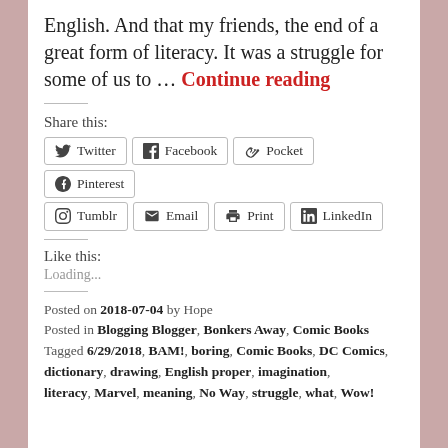English. And that my friends, the end of a great form of literacy. It was a struggle for some of us to … Continue reading
Share this:
Twitter, Facebook, Pocket, Pinterest, Tumblr, Email, Print, LinkedIn
Like this:
Loading...
Posted on 2018-07-04 by Hope
Posted in Blogging Blogger, Bonkers Away, Comic Books
Tagged 6/29/2018, BAM!, boring, Comic Books, DC Comics, dictionary, drawing, English proper, imagination, literacy, Marvel, meaning, No Way, struggle, what, Wow!